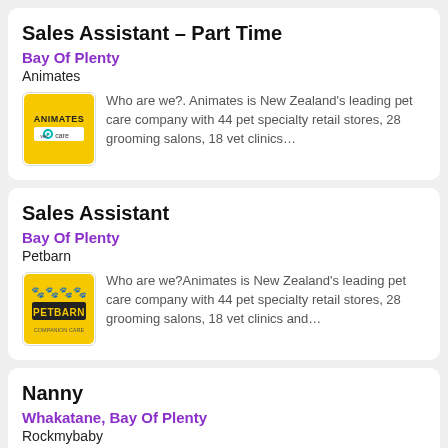Sales Assistant - Part Time
Bay Of Plenty
Animates
Who are we?. Animates is New Zealand's leading pet care company with 44 pet specialty retail stores, 28 grooming salons, 18 vet clinics...
Sales Assistant
Bay Of Plenty
Petbarn
Who are we?Animates is New Zealand's leading pet care company with 44 pet specialty retail stores, 28 grooming salons, 18 vet clinics and...
Nanny
Whakatane, Bay Of Plenty
Rockmybaby